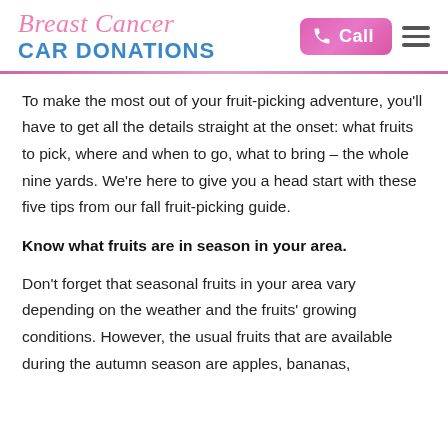Breast Cancer CAR DONATIONS
To make the most out of your fruit-picking adventure, you'll have to get all the details straight at the onset: what fruits to pick, where and when to go, what to bring – the whole nine yards. We're here to give you a head start with these five tips from our fall fruit-picking guide.
Know what fruits are in season in your area.
Don't forget that seasonal fruits in your area vary depending on the weather and the fruits' growing conditions. However, the usual fruits that are available during the autumn season are apples, bananas,